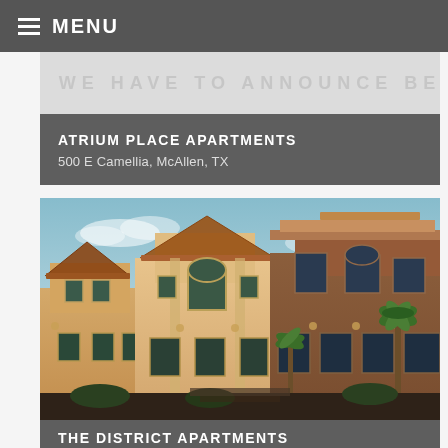MENU
ATRIUM PLACE APARTMENTS
500 E Camellia, McAllen, TX
[Figure (photo): Exterior photograph of The District Apartments showing Mediterranean-style multi-story apartment buildings with terracotta roofs, stucco walls in beige and brown tones, arched windows, and palm trees against a blue sky]
THE DISTRICT APARTMENTS